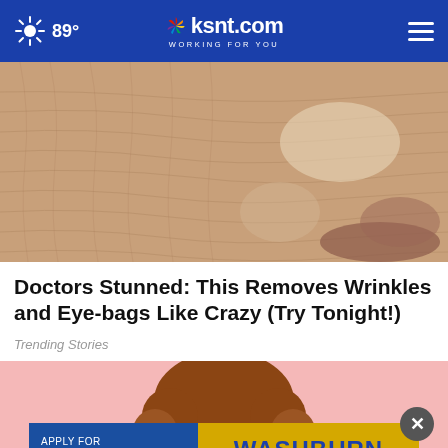89° ksnt.com WORKING FOR YOU
[Figure (photo): Close-up of wrinkled, dry skin on a human face near the nose area]
Doctors Stunned: This Removes Wrinkles and Eye-bags Like Crazy (Try Tonight!)
Trending Stories
[Figure (photo): Young woman with curly red hair smiling against a pink background, with a Washburn University advertisement overlay reading APPLY FOR FREE, CODE WASHBURN, APPLY TODAY]
[Figure (advertisement): Washburn University banner ad: APPLY FOR FREE, CODE WASHBURN, APPLY TODAY]